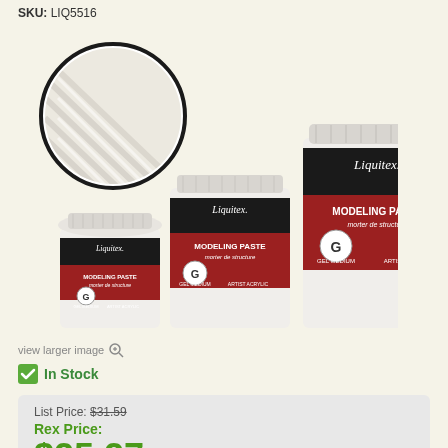SKU: LIQ5516
[Figure (photo): Product photo of Liquitex Modeling Paste in three sizes with a circular swatch inset showing texture]
view larger image 🔍
✔ In Stock
List Price: $31.59
Rex Price:
$25.27
Save 20%!
Add to Cart